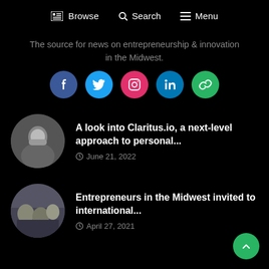Browse  Search  Menu
The source for news on entrepreneurship & innovation in the Midwest.
[Figure (infographic): Row of five social media icon circles: Facebook (blue), Twitter (light blue), Instagram (red/pink), LinkedIn (blue), Link/chain (green)]
A look into Claritus.io, a next-level approach to personal... — June 21, 2022
Entrepreneurs in the Midwest invited to international... — April 27, 2021